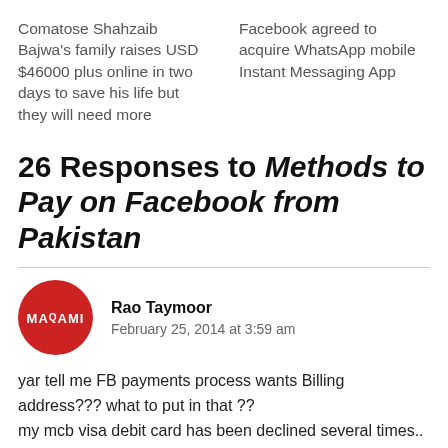Comatose Shahzaib Bajwa's family raises USD $46000 plus online in two days to save his life but they will need more
Facebook agreed to acquire WhatsApp mobile Instant Messaging App
26 Responses to Methods to Pay on Facebook from Pakistan
[Figure (logo): Red circular MARAMI logo with white text]
Rao Taymoor
February 25, 2014 at 3:59 am
yar tell me FB payments process wants Billing address??? what to put in that ??
my mcb visa debit card has been declined several times..
now what to do?